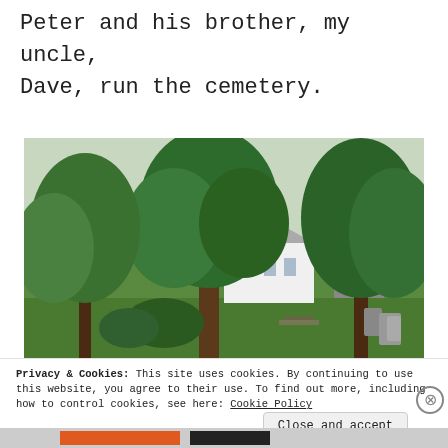Peter and his brother, my uncle, Dave, run the cemetery.
[Figure (photo): Outdoor scene with large green trees in the foreground and a white church or building visible in the background, with gravestones visible to the right side. Green lawn surrounds the area.]
Privacy & Cookies: This site uses cookies. By continuing to use this website, you agree to their use. To find out more, including how to control cookies, see here: Cookie Policy
Close and accept